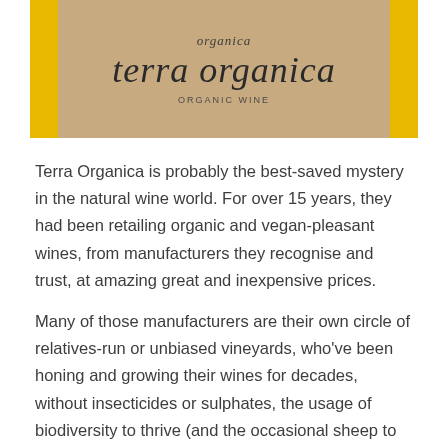[Figure (photo): Terra Organica organic wine label with yellow side borders and beige/tan center. Shows 'organica' at top, 'terra organica' in large italic text, and 'ORGANIC WINE' below.]
Terra Organica is probably the best-saved mystery in the natural wine world. For over 15 years, they had been retailing organic and vegan-pleasant wines, from manufacturers they recognise and trust, at amazing great and inexpensive prices.
Many of those manufacturers are their own circle of relatives-run or unbiased vineyards, who've been honing and growing their wines for decades, without insecticides or sulphates, the usage of biodiversity to thrive (and the occasional sheep to preserve the weeds in check).
Grapes grown without synthetic chemical compounds are as nature intended. Grapes are